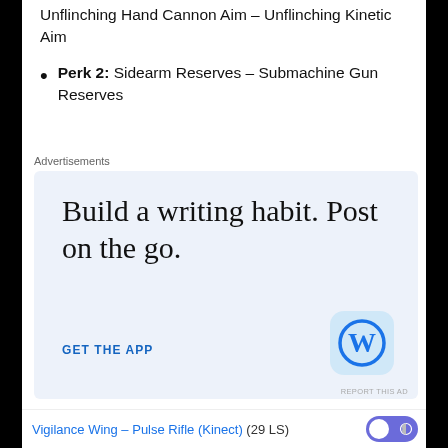Unflinching Hand Cannon Aim – Unflinching Kinetic Aim
Perk 2: Sidearm Reserves – Submachine Gun Reserves
[Figure (infographic): Advertisement for WordPress app: 'Build a writing habit. Post on the go.' with GET THE APP link and WordPress logo]
Vigilance Wing – Pulse Rifle (Kinect) (29 LS)